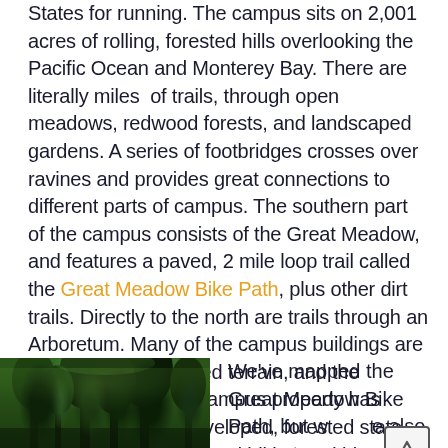States for running. The campus sits on 2,001 acres of rolling, forested hills overlooking the Pacific Ocean and Monterey Bay. There are literally miles of trails, through open meadows, redwood forests, and landscaped gardens. A series of footbridges crosses over ravines and provides great connections to different parts of campus. The southern part of the campus consists of the Great Meadow, and features a paved, 2 mile loop trail called the Great Meadow Bike Path, plus other dirt trails. Directly to the north are trails through an Arboretum. Many of the campus buildings are located within forested terrain, and the northern half of the campus property has remained in its undeveloped, forested state apart from fire roads and hiking and bicycle trails.
[Figure (photo): Photo of tall redwood or conifer trees with dense green canopy, forest setting on campus]
We've mapped the Great Meadow Bike Path, but we also suggest